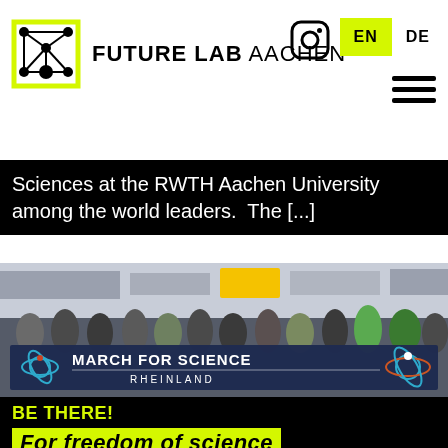FUTURE LAB AACHEN
Sciences at the RWTH Aachen University among the world leaders.  The [...]
[Figure (photo): Crowd of people holding a large dark blue banner reading 'MARCH FOR SCIENCE RHEINLAND' with an atom logo, walking down a city street]
BE THERE!
For freedom of science